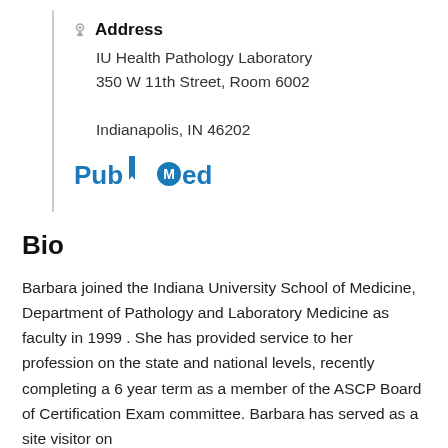Address
IU Health Pathology Laboratory
350 W 11th Street, Room 6002

Indianapolis, IN 46202
[Figure (logo): PubMed logo in blue with circular M icon and flag element]
Bio
Barbara joined the Indiana University School of Medicine, Department of Pathology and Laboratory Medicine as faculty in 1999 . She has provided service to her profession on the state and national levels, recently completing a 6 year term as a member of the ASCP Board of Certification Exam committee. Barbara has served as a site visitor on